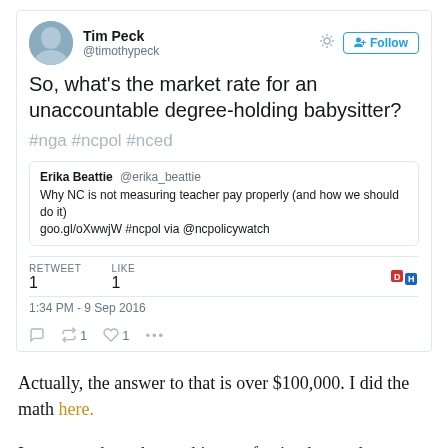[Figure (screenshot): Tweet by Tim Peck (@timothypeck) saying 'So, what's the market rate for an unaccountable degree-holding babysitter?' with hashtags #nga #ncpol #nced, quoting Erika Beattie @erika_beattie about NC teacher pay, with 1 retweet 1 like, timestamp 1:34 PM - 9 Sep 2016]
Actually, the answer to that is over $100,000. I did the math here.
In a state where the teaching profession has undergone